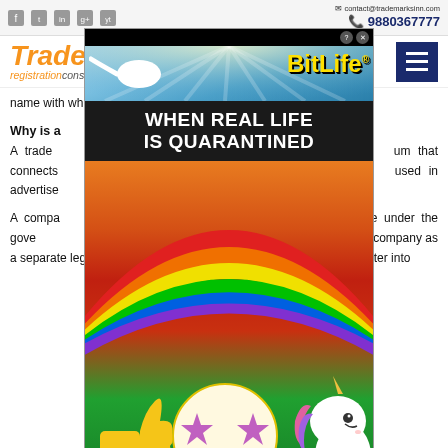contact@trademarksinn.com | 9880367777
[Figure (logo): Trademark registrationconsultant.in logo with menu button]
name with which an entity does business is called a trade name.
Why is a ...
A trade ... um that connects ... used in advertising ... the public to recog...
A company ... under the government ... istration endows recognition on the company as a separate legal entity. After registration, the company or LLP can enter into
[Figure (illustration): BitLife advertisement: WHEN REAL LIFE IS QUARANTINED with cartoon unicorn and rainbow]